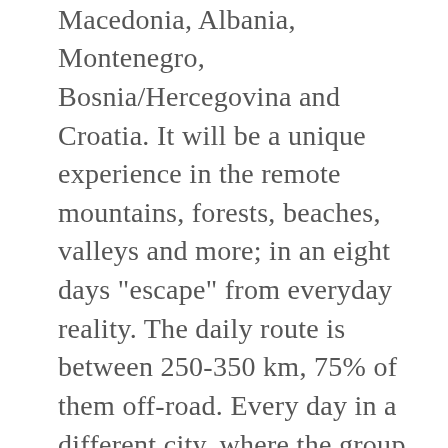of Greece, Bulgaria, North Macedonia, Albania, Montenegro, Bosnia/Hercegovina and Croatia. It will be a unique experience in the remote mountains, forests, beaches, valleys and more; in an eight days "escape" from everyday reality. The daily route is between 250-350 km, 75% of them off-road. Every day in a different city, where the group will be accommodated in the best location in town, in three star hotels. The route will be driven with Road Book and/or GPS waypoints and Track. Illyria Raid is the best opportunity for adventure tourism, navigation training, physical training for rally or enduro competitors and of course a very intense and pleasant vacation time. The route is suitable for Moto, Quad and SSV and consists of everything; from stones, mud, dust, river crossing, forest, grass, valleys and going from the sea level to high mountains.